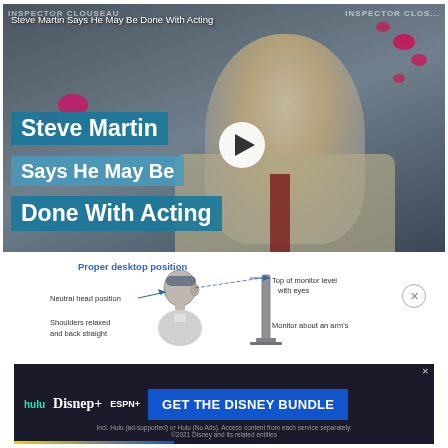[Figure (screenshot): Video thumbnail of Steve Martin at a red carpet event. Shows text overlay 'Steve Martin Says He May Be Done With Acting' on teal background boxes. A white play button circle is visible. Background shows event signage with 'INSPECTOR CLOUSEAU' text.]
[Figure (infographic): Ergonomics diagram showing proper desktop position. Illustration of a person sitting at a desk with labels: 'Proper desktop position' (title in blue), 'Neutral head position', 'Shoulders relaxed', 'Top of monitor level with eyes', 'Monitor about an arm's'. A close (X) button is on the right.]
[Figure (screenshot): Disney Bundle advertisement banner with dark background. Shows Hulu, Disney+, ESPN+ logos on left. Large blue button reading 'GET THE DISNEY BUNDLE'. Small text: 'Incl. Hulu (ad-supported) or Hulu (No Ads). Access content from each service separately. ©2021 Disney and its related entities'. Small X close button top right.]